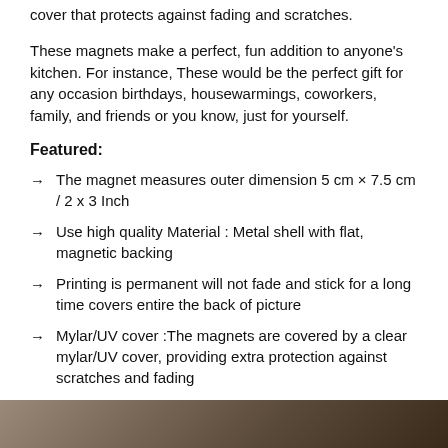cover that protects against fading and scratches.
These magnets make a perfect, fun addition to anyone’s kitchen. For instance, These would be the perfect gift for any occasion birthdays, housewarmings, coworkers, family, and friends or you know, just for yourself.
Featured:
The magnet measures outer dimension 5 cm × 7.5 cm / 2 x 3 Inch
Use high quality Material : Metal shell with flat, magnetic backing
Printing is permanent will not fade and stick for a long time covers entire the back of picture
Mylar/UV cover :The magnets are covered by a clear mylar/UV cover, providing extra protection against scratches and fading
[Figure (photo): Bottom strip of a product photo showing a magnet or similar item]